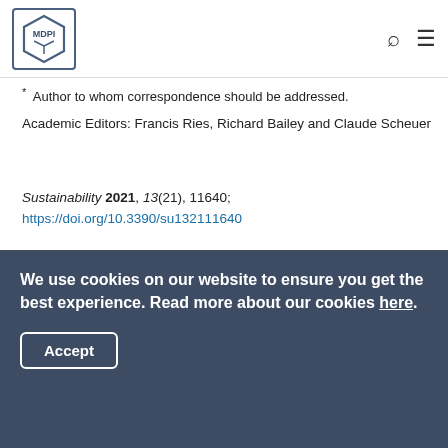MDPI
* Author to whom correspondence should be addressed.
Academic Editors: Francis Ries, Richard Bailey and Claude Scheuer
Sustainability 2021, 13(21), 11640; https://doi.org/10.3390/su132111640
Received: 8 September 2021 / Revised: 15 October 2021 / Accepted: 18 October 2021 / Published: 21 October 2021
(This article belongs to the Special Issue Active School Concept)
We use cookies on our website to ensure you get the best experience. Read more about our cookies here.
Accept